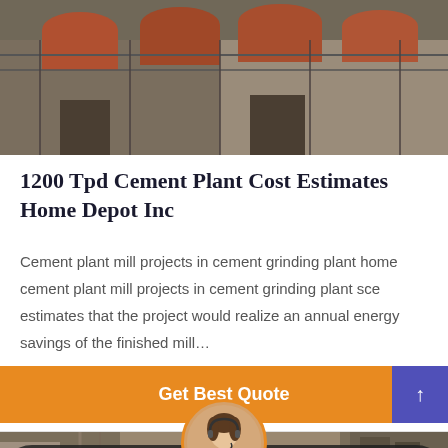[Figure (photo): Industrial cement plant exterior with large pipes and cylindrical tanks on the roof, dark industrial building facade]
1200 Tpd Cement Plant Cost Estimates Home Depot Inc
Cement plant mill projects in cement grinding plant home cement plant mill projects in cement grinding plant sce estimates that the project would realize an annual energy savings of the finished mill…
[Figure (other): Orange button reading 'Get Best Quote' with a purple scroll-to-top arrow button on the right]
[Figure (photo): Bottom banner showing industrial cement plant background with a dark rounded overlay containing 'Leave Message' and 'Chat Online' text, and a circular avatar of a woman with headset in the center]